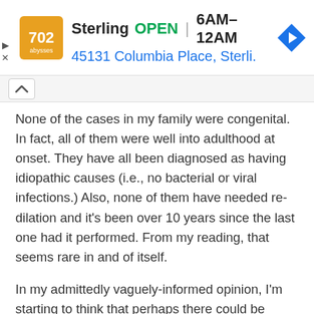[Figure (screenshot): Advertisement banner for Sterling showing logo, OPEN status, hours 6AM-12AM, address 45131 Columbia Place, Sterli., and navigation arrow icon]
None of the cases in my family were congenital. In fact, all of them were well into adulthood at onset. They have all been diagnosed as having idiopathic causes (i.e., no bacterial or viral infections.) Also, none of them have needed re-dilation and it's been over 10 years since the last one had it performed. From my reading, that seems rare in and of itself.
In my admittedly vaguely-informed opinion, I'm starting to think that perhaps there could be different sub-types of this disease. Then again,